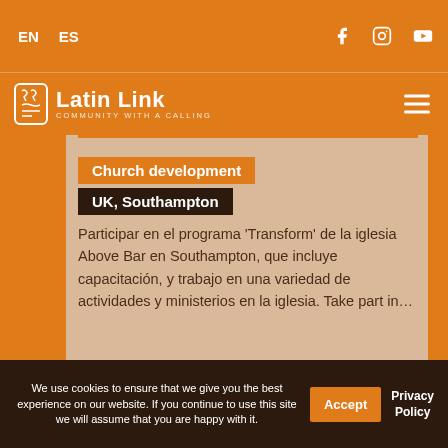EN  ES
[Figure (logo): Latin Link logo with tagline 'Community with a Calling']
Church development
UK, Southampton
Participar en el programa 'Transform' de la iglesia Above Bar en Southampton, que incluye capacitación, y trabajo en una variedad de actividades y ministerios en la iglesia. Take part in...
We use cookies to ensure that we give you the best experience on our website. If you continue to use this site we will assume that you are happy with it.  Accept  Privacy Policy